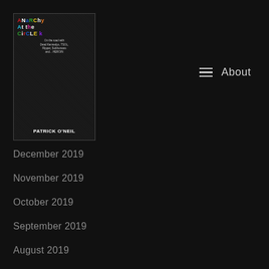[Figure (illustration): Book cover for 'Anarchy at the Circle K' by Patrick O'Neil. Black background with cut-out ransom-style colorful letters for the title. Subtitle text: 'On the road with Dead Kennedys, TSOL, Flipper, Subhumans and... HEROIN'. Author name at bottom in white bold text.]
About
December 2019
November 2019
October 2019
September 2019
August 2019
July 2019